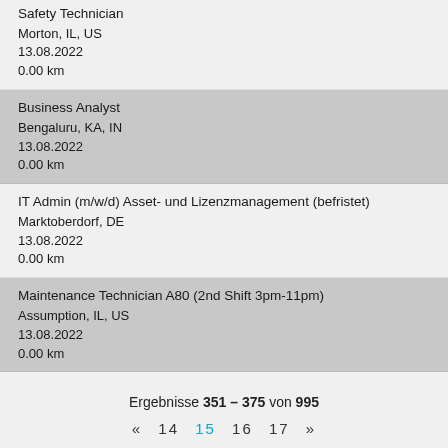Safety Technician
Morton, IL, US
13.08.2022
0.00 km
Business Analyst
Bengaluru, KA, IN
13.08.2022
0.00 km
IT Admin (m/w/d) Asset- und Lizenzmanagement (befristet)
Marktoberdorf, DE
13.08.2022
0.00 km
Maintenance Technician A80 (2nd Shift 3pm-11pm)
Assumption, IL, US
13.08.2022
0.00 km
Ergebnisse 351 – 375 von 995   «  14  15  16  17  »